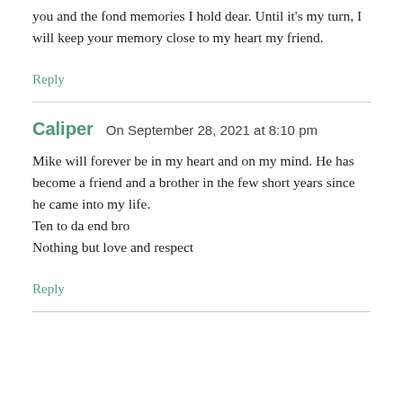you and the fond memories I hold dear. Until it's my turn, I will keep your memory close to my heart my friend.
Reply
Caliper  On September 28, 2021 at 8:10 pm
Mike will forever be in my heart and on my mind. He has become a friend and a brother in the few short years since he came into my life. Ten to da end bro
Nothing but love and respect
Reply